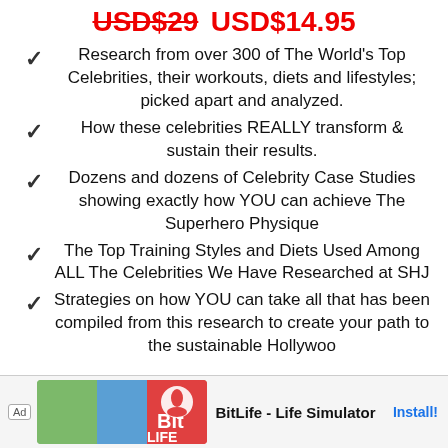USD$29 USD$14.95
Research from over 300 of The World's Top Celebrities, their workouts, diets and lifestyles; picked apart and analyzed.
How these celebrities REALLY transform & sustain their results.
Dozens and dozens of Celebrity Case Studies showing exactly how YOU can achieve The Superhero Physique
The Top Training Styles and Diets Used Among ALL The Celebrities We Have Researched at SHJ
Strategies on how YOU can take all that has been compiled from this research to create your path to the sustainable Hollywood...
[Figure (screenshot): Ad banner for BitLife - Life Simulator app with Install button]